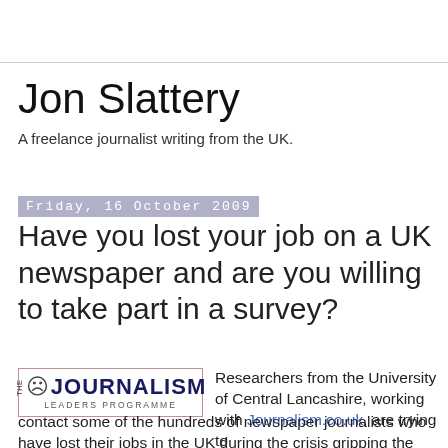Jon Slattery
A freelance journalist writing from the UK.
Friday, 16 October 2009
Have you lost your job on a UK newspaper and are you willing to take part in a survey?
[Figure (logo): The Journalism Leaders Programme logo — globe icon, bold text 'JOURNALISM', subtext 'LEADERS PROGRAMME', inside a bordered box]
Researchers from the University of Central Lancashire, working with Journalism.co.uk, are trying to contact some of the hundreds of newspaper journalists who have lost their jobs in the UK during the crisis gripping the